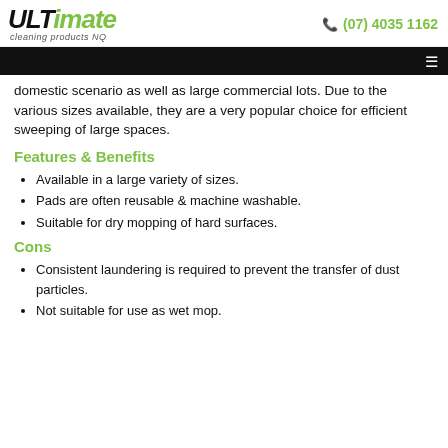ULTimate cleaning products NQ | (07) 4035 1162
domestic scenario as well as large commercial lots. Due to the various sizes available, they are a very popular choice for efficient sweeping of large spaces.
Features & Benefits
Available in a large variety of sizes.
Pads are often reusable & machine washable.
Suitable for dry mopping of hard surfaces.
Cons
Consistent laundering is required to prevent the transfer of dust particles.
Not suitable for use as wet mop.